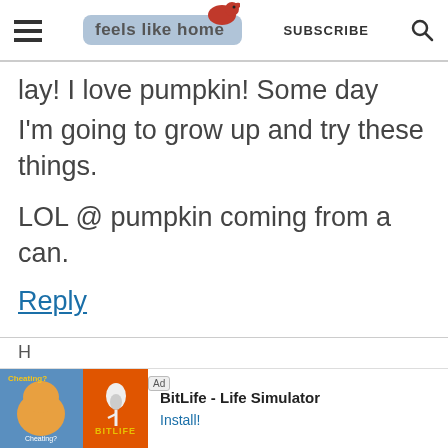feels like home | SUBSCRIBE
lay! I love pumpkin! Some day I'm going to grow up and try these things.
LOL @ pumpkin coming from a can.
Reply
[Figure (other): Ad banner: BitLife - Life Simulator with Install button]